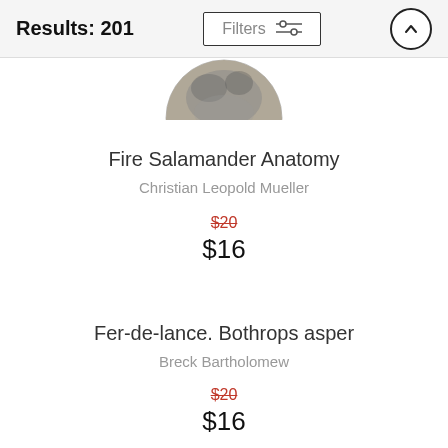Results: 201
[Figure (photo): Partial circular image of a fire salamander, cropped at top]
Fire Salamander Anatomy
Christian Leopold Mueller
$20 (strikethrough) $16
Fer-de-lance. Bothrops asper
Breck Bartholomew
$20 (strikethrough) $16